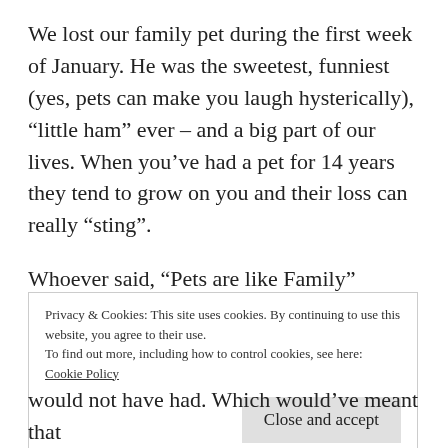We lost our family pet during the first week of January. He was the sweetest, funniest (yes, pets can make you laugh hysterically), “little ham” ever – and a big part of our lives. When you’ve had a pet for 14 years they tend to grow on you and their loss can really “sting”.
Whoever said, “Pets are like Family” obviously owned, cared for and loved one themselves, because they sure knew what they were talking about. We found ourselves whilst also having a
Privacy & Cookies: This site uses cookies. By continuing to use this website, you agree to their use.
To find out more, including how to control cookies, see here: Cookie Policy
Close and accept
would not have had. Which would’ve meant that